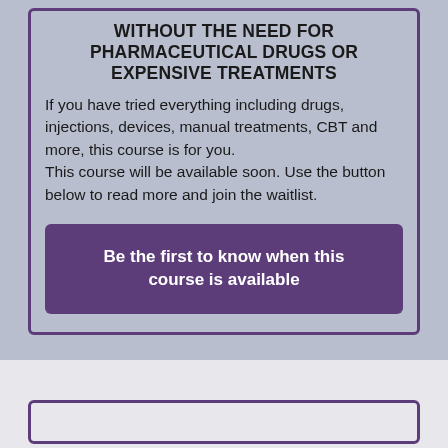WITHOUT THE NEED FOR PHARMACEUTICAL DRUGS OR EXPENSIVE TREATMENTS
If you have tried everything including drugs, injections, devices, manual treatments, CBT and more, this course is for you.
This course will be available soon. Use the button below to read more and join the waitlist.
Be the first to know when this course is available